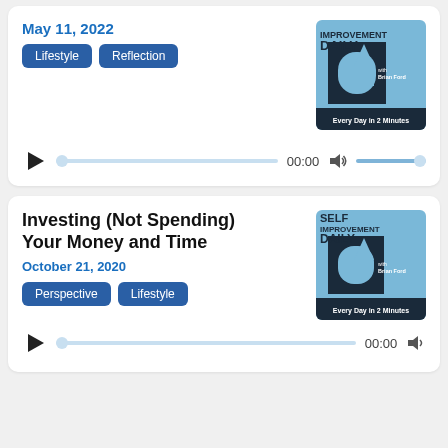May 11, 2022
Lifestyle
Reflection
[Figure (illustration): Self Improvement Daily podcast cover art — blue background with large black D shape and upward arrow, text: IMPROVEMENT DAILY with Brian Ford, Every Day in 2 Minutes]
Investing (Not Spending) Your Money and Time
October 21, 2020
Perspective
Lifestyle
[Figure (illustration): Self Improvement Daily podcast cover art — blue background with large black D shape and upward arrow, text: SELF IMPROVEMENT DAILY with Brian Ford, Every Day in 2 Minutes]